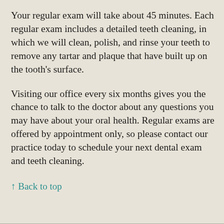Your regular exam will take about 45 minutes. Each regular exam includes a detailed teeth cleaning, in which we will clean, polish, and rinse your teeth to remove any tartar and plaque that have built up on the tooth's surface.
Visiting our office every six months gives you the chance to talk to the doctor about any questions you may have about your oral health. Regular exams are offered by appointment only, so please contact our practice today to schedule your next dental exam and teeth cleaning.
↑ Back to top